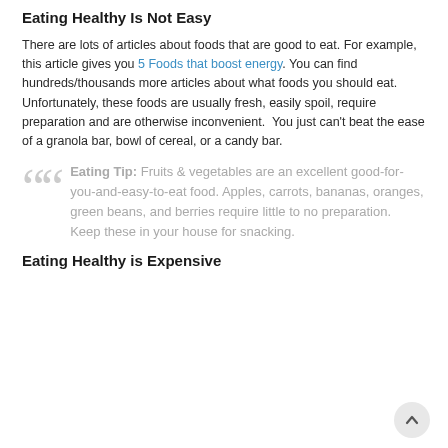Eating Healthy Is Not Easy
There are lots of articles about foods that are good to eat. For example, this article gives you 5 Foods that boost energy. You can find hundreds/thousands more articles about what foods you should eat. Unfortunately, these foods are usually fresh, easily spoil, require preparation and are otherwise inconvenient.  You just can't beat the ease of a granola bar, bowl of cereal, or a candy bar.
Eating Tip: Fruits & vegetables are an excellent good-for-you-and-easy-to-eat food. Apples, carrots, bananas, oranges, green beans, and berries require little to no preparation.  Keep these in your house for snacking.
Eating Healthy is Expensive